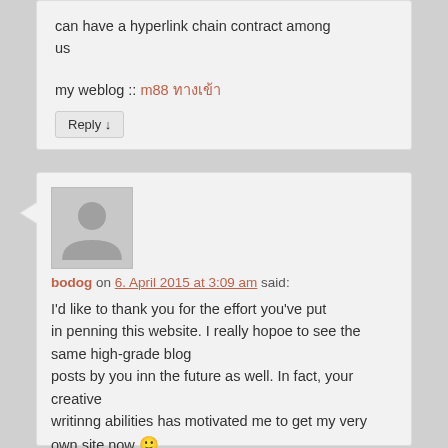can have a hyperlink chain contract among us
my weblog :: m88 ทางเข้า
Reply ↓
[Figure (illustration): Default user avatar placeholder — grey square with silhouette of a person (head circle and shoulders arc) in lighter grey]
bodog on 6. April 2015 at 3:09 am said:
I'd like to thank you for the effort you've put in penning this website. I really hopoe to see the same high-grade blog posts by you inn the future as well. In fact, your creative writinng abilities has motivated me to get my very own site now 🙂